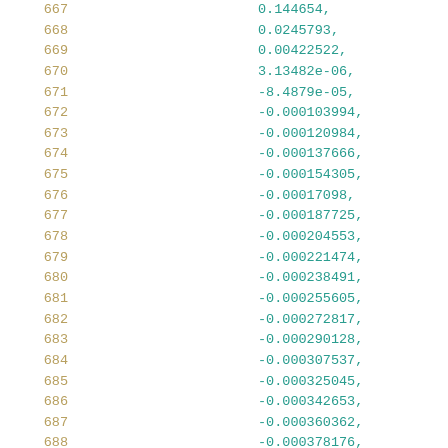667    0.144654,
668    0.0245793,
669    0.00422522,
670    3.13482e-06,
671    -8.4879e-05,
672    -0.000103994,
673    -0.000120984,
674    -0.000137666,
675    -0.000154305,
676    -0.00017098,
677    -0.000187725,
678    -0.000204553,
679    -0.000221474,
680    -0.000238491,
681    -0.000255605,
682    -0.000272817,
683    -0.000290128,
684    -0.000307537,
685    -0.000325045,
686    -0.000342653,
687    -0.000360362,
688    -0.000378176,